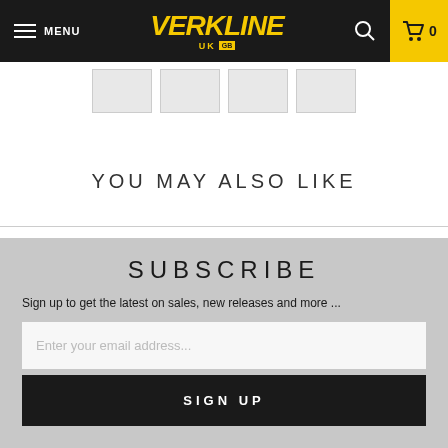MENU | VERKLINE UK | 0
[Figure (screenshot): Four product thumbnail images in a row]
YOU MAY ALSO LIKE
SUBSCRIBE
Sign up to get the latest on sales, new releases and more ...
Enter your email address...
SIGN UP